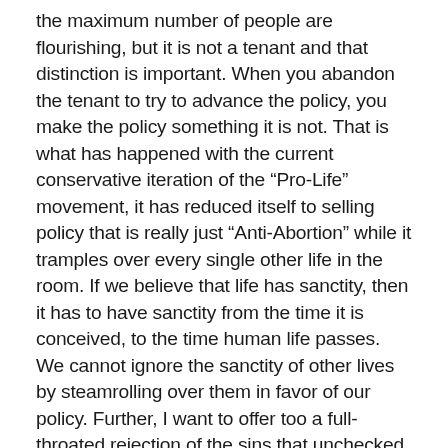the maximum number of people are flourishing, but it is not a tenant and that distinction is important. When you abandon the tenant to try to advance the policy, you make the policy something it is not. That is what has happened with the current conservative iteration of the “Pro-Life” movement, it has reduced itself to selling policy that is really just “Anti-Abortion” while it tramples over every single other life in the room. If we believe that life has sanctity, then it has to have sanctity from the time it is conceived, to the time human life passes. We cannot ignore the sanctity of other lives by steamrolling over them in favor of our policy. Further, I want to offer too a full-throated rejection of the sins that unchecked conservatism has indulged in, particularly in the Church. Misogyny, bigotry of any kind, Nationalism, sexual misconduct, particularly in conservative churches that has been covered up to protect the leader. I reject all of these, they are abominations before